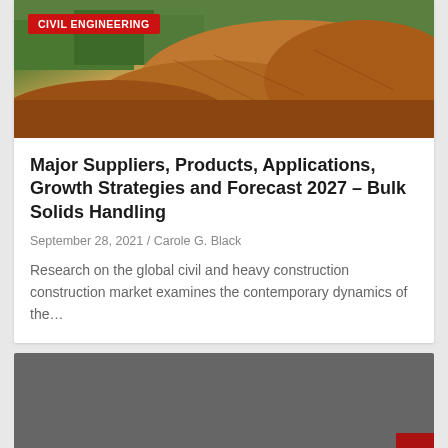[Figure (photo): Aerial or ground-level view of a construction excavation site with dirt mounds and green vegetation in the background]
CIVIL ENGINEERING
Major Suppliers, Products, Applications, Growth Strategies and Forecast 2027 – Bulk Solids Handling
September 28, 2021 / Carole G. Black
Research on the global civil and heavy construction construction market examines the contemporary dynamics of the…
[Figure (photo): Dark grey background image, partially loaded or obscured second article card with a red navigation button on the right side]